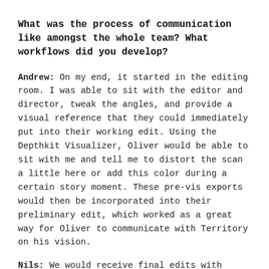What was the process of communication like amongst the whole team? What workflows did you develop?
Andrew: On my end, it started in the editing room. I was able to sit with the editor and director, tweak the angles, and provide a visual reference that they could immediately put into their working edit. Using the Depthkit Visualizer, Oliver would be able to sit with me and tell me to distort the scan a little here or add this color during a certain story moment. These pre-vis exports would then be incorporated into their preliminary edit, which worked as a great way for Oliver to communicate with Territory on his vision.
Nils: We would receive final edits with Andrew's mock-up Depthkit visualization, plus a data treatment for the UI elements of what the narrative is supposed to be like.